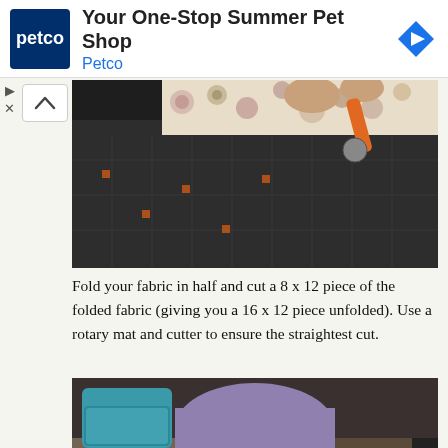[Figure (other): Petco advertisement banner with logo, text 'Your One-Stop Summer Pet Shop / Petco', and navigation arrow icon]
[Figure (photo): Person cutting patterned fabric with orange-handled rotary cutter on a dark cutting mat on a table]
Fold your fabric in half and cut a 8 x 12 piece of the folded fabric (giving you a 16 x 12 piece unfolded). Use a rotary mat and cutter to ensure the straightest cut.
[Figure (photo): Person's hands working with white fabric/interfacing on a table, with a teal storage container visible in background]